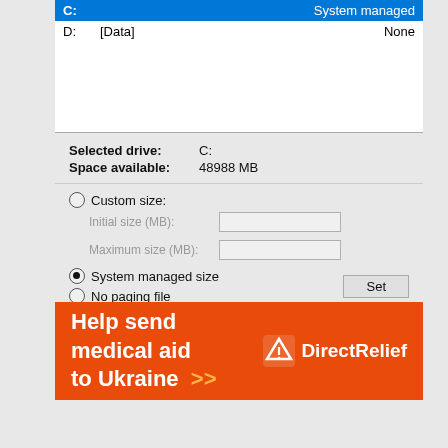[Figure (screenshot): Windows virtual memory settings dialog showing drive list with C: (System managed) selected and D: [Data] None, with options for custom size, system managed size, no paging file, and total paging file size info.]
Selected drive: C:
Space available: 48988 MB
Custom size:
Initial size (MB):
Maximum size (MB):
System managed size
No paging file
Total paging file size for all drives
Minimum allowed: 16 MB
Recommended: 1653 MB
Currently allocated: 7680 MB
[Figure (other): DirectRelief orange advertisement banner: Help send medical aid to Ukraine >> with DirectRelief logo]